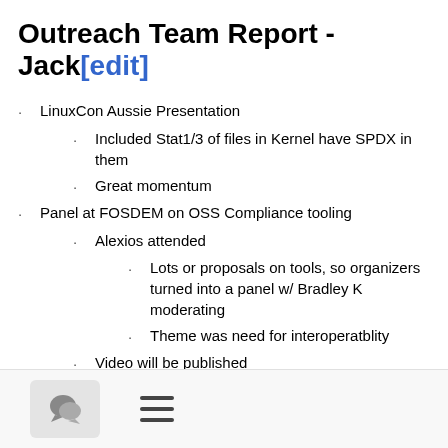Outreach Team Report - Jack[edit]
LinuxCon Aussie Presentation
Included Stat1/3 of files in Kernel have SPDX in them
Great momentum
Panel at FOSDEM on OSS Compliance tooling
Alexios attended
Lots or proposals on tools, so organizers turned into a panel w/ Bradley K moderating
Theme was need for interoperatblity
Video will be published
Alexios also mentioned that at recent copyleft conference, SPDX came up in every talk
Website
Looking into status of move to Wordpress with LF
Request a new license page has been directed to GitHub repo
Need an Outreach reboot